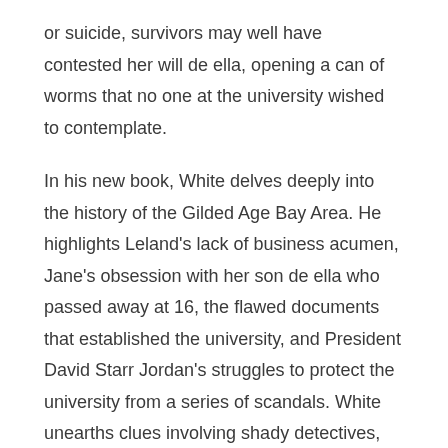or suicide, survivors may well have contested her will de ella, opening a can of worms that no one at the university wished to contemplate.
In his new book, White delves deeply into the history of the Gilded Age Bay Area. He highlights Leland's lack of business acumen, Jane's obsession with her son de ella who passed away at 16, the flawed documents that established the university, and President David Starr Jordan's struggles to protect the university from a series of scandals. White unearths clues involving shady detectives, corrupt politicians, yellow journalists and leaders of Chinatown's powerful tongs (community organizations that sometimes had ties to crime).
White also details both poisoning incidents.
On Jan. 14, 1905, Jane Stanford called for help after drinking from her nightly glass of Poland Spring mineral water. The water tasted